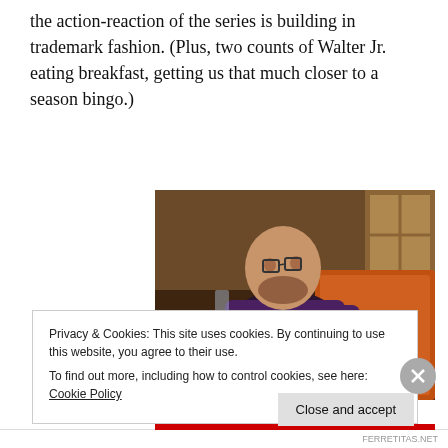the action-reaction of the series is building in trademark fashion. (Plus, two counts of Walter Jr. eating breakfast, getting us that much closer to a season bingo.)
[Figure (photo): A bald man in a dark purple shirt sitting on a couch, holding up a glass, in a dimly lit room with wood panel walls and an orange knit blanket behind him.]
Privacy & Cookies: This site uses cookies. By continuing to use this website, you agree to their use.
To find out more, including how to control cookies, see here: Cookie Policy